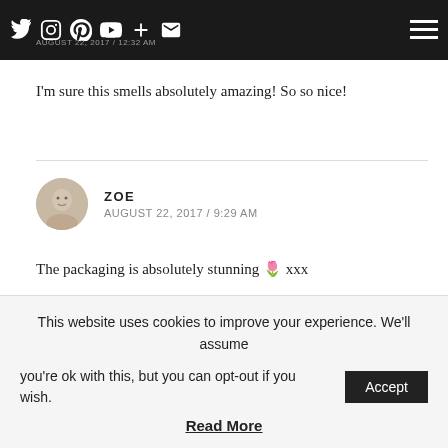AUGUST 22, 2017 / 12:32 AM
I'm sure this smells absolutely amazing! So so nice!
ZOE
AUGUST 22, 2017 / 9:29 AM
The packaging is absolutely stunning 🌸 xxx
Zoe ♥ MammafulZo
This website uses cookies to improve your experience. We'll assume you're ok with this, but you can opt-out if you wish.
Read More